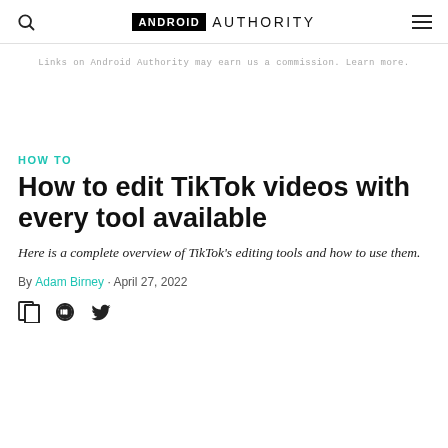ANDROID AUTHORITY
Links on Android Authority may earn us a commission. Learn more.
HOW TO
How to edit TikTok videos with every tool available
Here is a complete overview of TikTok's editing tools and how to use them.
By Adam Birney • April 27, 2022